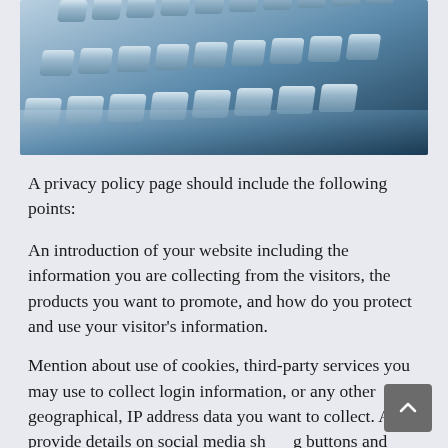[Figure (photo): Close-up photograph of a blue-tinted computer keyboard with silver/metallic keys, shot from a low angle.]
A privacy policy page should include the following points:
An introduction of your website including the information you are collecting from the visitors, the products you want to promote, and how do you protect and use your visitor's information.
Mention about use of cookies, third-party services you may use to collect login information, or any other geographical, IP address data you want to collect. Also provide details on social media sharing buttons and widgets, and gathering of email and their usage through the website comments